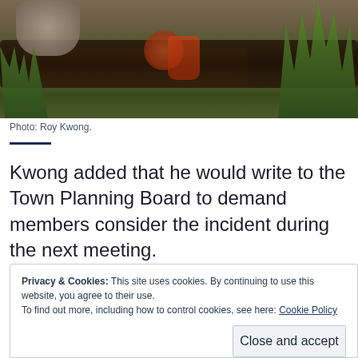[Figure (photo): Outdoor photo showing a person's boots near a dark log amid dry grass and green reeds, taken from above.]
Photo: Roy Kwong.
Kwong added that he would write to the Town Planning Board to demand members consider the incident during the next meeting.
Privacy & Cookies: This site uses cookies. By continuing to use this website, you agree to their use.
To find out more, including how to control cookies, see here: Cookie Policy
Close and accept